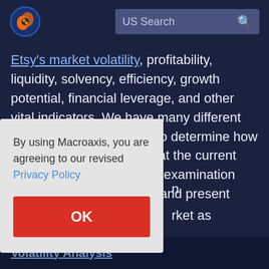US Search
Etsy's market volatility, profitability, liquidity, solvency, efficiency, growth potential, financial leverage, and other vital indicators. We have many different tools that can be utilized to determine how healthy Etsy is operating at the current time. Most of Etsy's value examination focuses on studying past and present price action to predict the
By using Macroaxis, you are agreeing to our revised Privacy Policy
OK
rket as
tsy to
latility.
Volatility Analysis